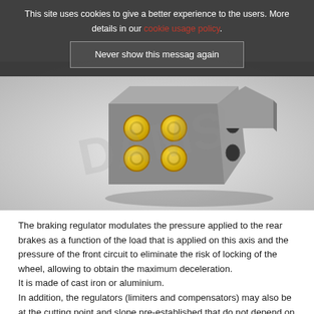This site uses cookies to give a better experience to the users. More details in our cookie usage policy.
Never show this messag again
[Figure (photo): A metal hydraulic braking regulator block with yellow-capped ports on the front face and two circular holes on the side, shown in a 3D rendered view on a light grey background.]
The braking regulator modulates the pressure applied to the rear brakes as a function of the load that is applied on this axis and the pressure of the front circuit to eliminate the risk of locking of the wheel, allowing to obtain the maximum deceleration.
It is made of cast iron or aluminium.
In addition, the regulators (limiters and compensators) may also be at the cutting point and slope pre-established that do not depend on the load on the vehicle (CRCI)